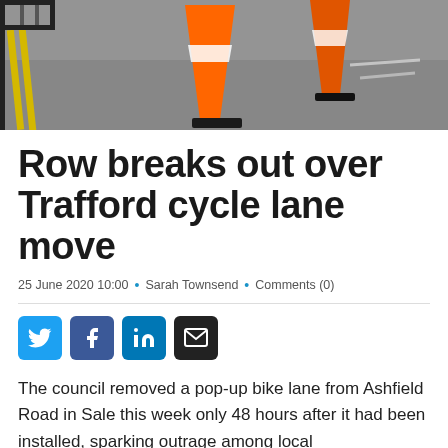[Figure (photo): Photo of traffic cones on a road surface with yellow double lines and a road barrier visible]
Row breaks out over Trafford cycle lane move
25 June 2020 10:00 · Sarah Townsend · Comments (0)
[Figure (infographic): Social sharing buttons: Twitter, Facebook, LinkedIn, Email]
The council removed a pop-up bike lane from Ashfield Road in Sale this week only 48 hours after it had been installed, sparking outrage among local